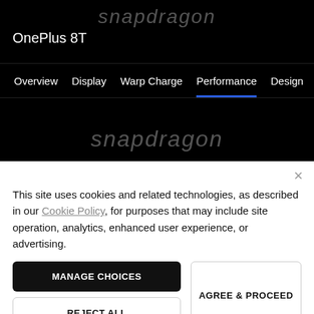[Figure (screenshot): OnePlus 8T website screenshot showing dark header with Snapdragon logo watermark, site navigation bar with Overview, Display, Warp Charge, Performance (active/underlined), Design, Ca... tabs, and partial hero text 'The future is 5G. Welcome to']
×
This site uses cookies and related technologies, as described in our Cookie Policy, for purposes that may include site operation, analytics, enhanced user experience, or advertising.
MANAGE CHOICES
AGREE & PROCEED
REJECT ALL